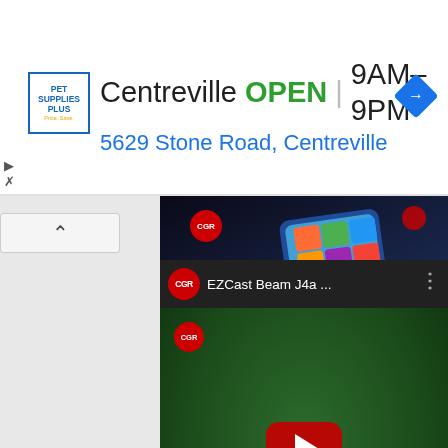[Figure (screenshot): Advertisement banner for Pet Supplies Plus Centreville store showing: Pet Supplies Plus logo, 'Centreville OPEN 9AM-9PM' text, '5629 Stone Road, Centreville' address in blue, and a blue navigation diamond icon]
[Figure (screenshot): YouTube video thumbnail showing a dark scene with a tablet device displaying colorful app grid, YouTube play button overlay, and red CGR (China Gadgets Reviews) circle logo]
[Figure (screenshot): YouTube video for 'EZCast Beam J4a ...' with CGR channel branding header, green background with projector on tripod, and YouTube play button overlay]
[Figure (screenshot): Partial YouTube video thumbnail at bottom of page, dark background with CGR red circle logo visible]